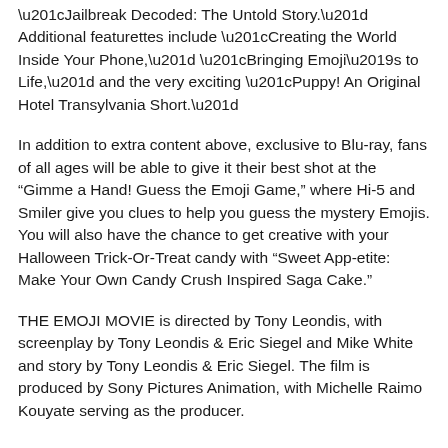“Jailbreak Decoded: The Untold Story.” Additional featurettes include “Creating the World Inside Your Phone,” “Bringing Emoji’s to Life,” and the very exciting “Puppy! An Original Hotel Transylvania Short.”
In addition to extra content above, exclusive to Blu-ray, fans of all ages will be able to give it their best shot at the “Gimme a Hand! Guess the Emoji Game,” where Hi-5 and Smiler give you clues to help you guess the mystery Emojis. You will also have the chance to get creative with your Halloween Trick-Or-Treat candy with “Sweet App-etite: Make Your Own Candy Crush Inspired Saga Cake.”
THE EMOJI MOVIE is directed by Tony Leondis, with screenplay by Tony Leondis & Eric Siegel and Mike White and story by Tony Leondis & Eric Siegel. The film is produced by Sony Pictures Animation, with Michelle Raimo Kouyate serving as the producer.